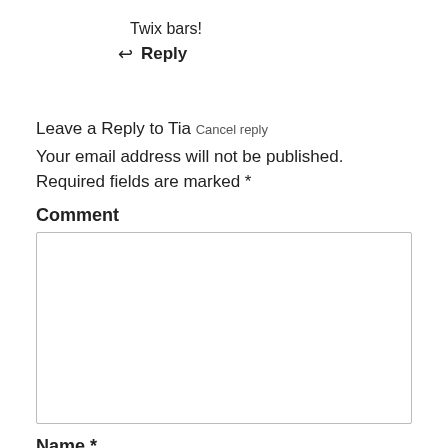Twix bars!
↩ Reply
Leave a Reply to Tia Cancel reply
Your email address will not be published. Required fields are marked *
Comment
(comment textarea)
Name *